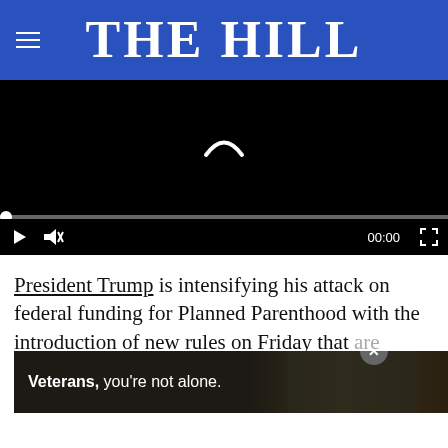THE HILL
[Figure (screenshot): Embedded video player with black background, loading spinner, progress bar at start (00:00), play button, mute button, and fullscreen button]
President Trump is intensifying his attack on federal funding for Planned Parenthood with the introduction of new rules on Friday that are widely seen as a way of gutting federal fundi
[Figure (photo): Advertisement overlay showing 'Veterans, you're not alone.' with a dark background photo of a person, and a close X button]